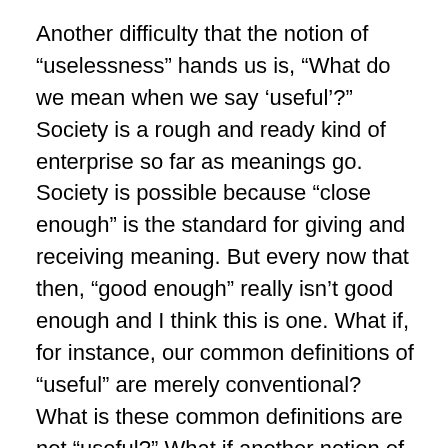Another difficulty that the notion of “uselessness” hands us is, “What do we mean when we say ‘useful’?” Society is a rough and ready kind of enterprise so far as meanings go. Society is possible because “close enough” is the standard for giving and receiving meaning. But every now that then, “good enough” really isn’t good enough and I think this is one. What if, for instance, our common definitions of “useful” are merely conventional? What is these common definitions are not “useful?” What if another notion of “useful,” on being presented, would be welcomed and would benefit us all?
Here’s an example. There was quite a bit of time that elapsed between my wife, Marilyn’s cancer diagnosis and her death. During most of that time, she was disabled by cancer treatments of one kind or another and she